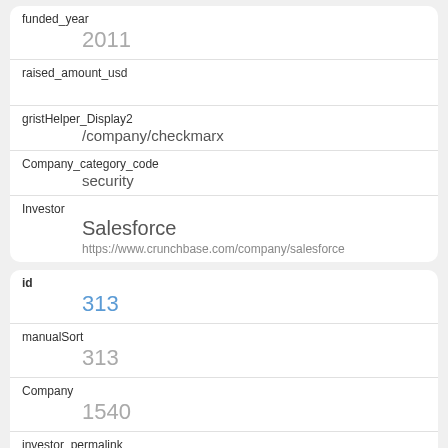| funded_year | 2011 |
| raised_amount_usd |  |
| gristHelper_Display2 | /company/checkmarx |
| Company_category_code | security |
| Investor | Salesforce
https://www.crunchbase.com/company/salesforce |
| id | 313 |
| manualSort | 313 |
| Company | 1540 |
| investor_permalink | /company/tamra-tacoma-capital-partners |